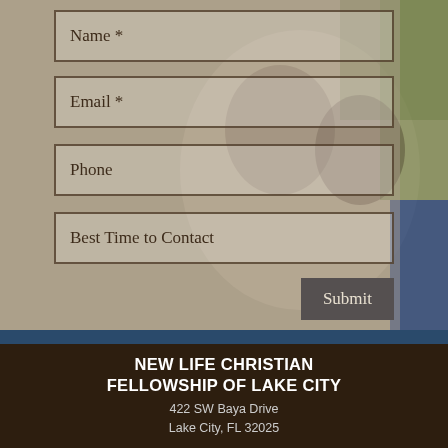[Figure (photo): Background photo of a smiling African American family (man, woman, child) with semi-transparent warm overlay]
Name *
Email *
Phone
Best Time to Contact
Submit
NEW LIFE CHRISTIAN FELLOWSHIP OF LAKE CITY
422 SW Baya Drive
Lake City, FL 32025